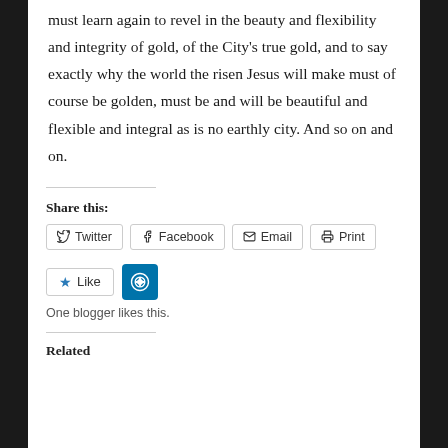must learn again to revel in the beauty and flexibility and integrity of gold, of the City's true gold, and to say exactly why the world the risen Jesus will make must of course be golden, must be and will be beautiful and flexible and integral as is no earthly city. And so on and on.
Share this:
Twitter  Facebook  Email  Print
Like   [WordPress icon]   One blogger likes this.
Related